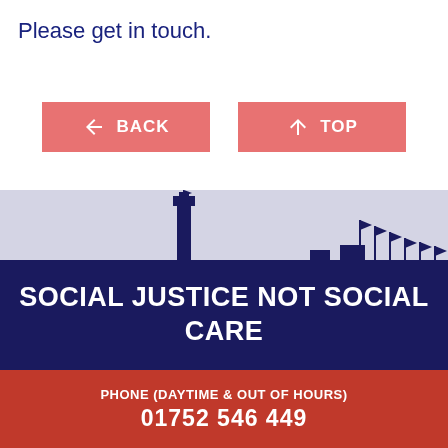Please get in touch.
[Figure (other): BACK navigation button with left arrow icon, salmon/coral colored]
[Figure (other): TOP navigation button with up arrow icon, salmon/coral colored]
[Figure (illustration): Silhouette of a lighthouse and cityscape/harbor with flags against a light grey sky, dark navy blue foreground]
SOCIAL JUSTICE NOT SOCIAL CARE
PHONE (DAYTIME & OUT OF HOURS) 01752 546 449